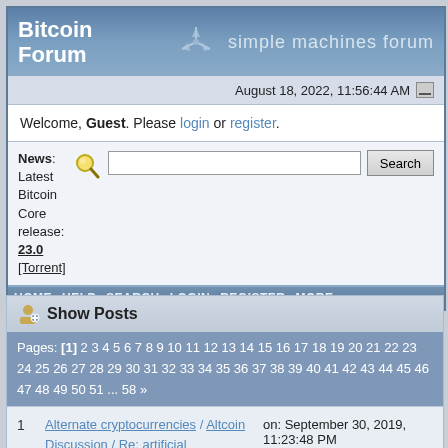Bitcoin Forum — simple machines forum
August 18, 2022, 11:56:44 AM
Welcome, Guest. Please login or register.
News: Latest Bitcoin Core release: 23.0 [Torrent]
HOME  HELP  SEARCH  LOGIN  REGISTER  MORE
Show Posts
Pages: [1] 2 3 4 5 6 7 8 9 10 11 12 13 14 15 16 17 18 19 20 21 22 23 24 25 26 27 28 29 30 31 32 33 34 35 36 37 38 39 40 41 42 43 44 45 46 47 48 49 50 51 ... 58 »
1  Alternate cryptocurrencies / Altcoin Discussion / Re: artificial intelligence can be dangerous  on: September 30, 2019, 11:23:48 PM
For this alone their name...  Re: it...